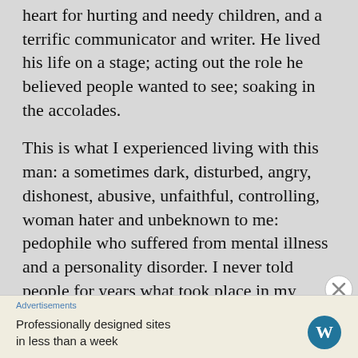heart for hurting and needy children, and a terrific communicator and writer. He lived his life on a stage; acting out the role he believed people wanted to see; soaking in the accolades.
This is what I experienced living with this man: a sometimes dark, disturbed, angry, dishonest, abusive, unfaithful, controlling, woman hater and unbeknown to me: pedophile who suffered from mental illness and a personality disorder. I never told people for years what took place in my marriage. In the ninth year of marriage I began to tell those closest to me as I  found out about his pornography addiction, mental illness, and a personality disorder. Why? See: My Destructive Marriage... [link text in orange]
Advertisements
Professionally designed sites in less than a week